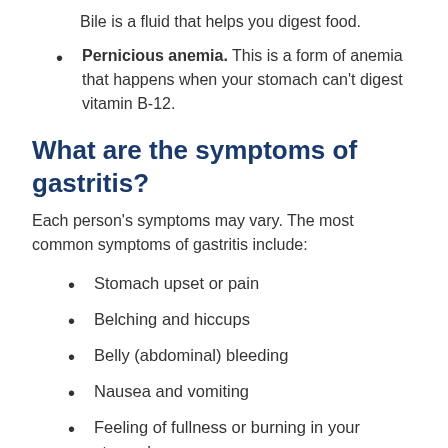Bile is a fluid that helps you digest food.
Pernicious anemia. This is a form of anemia that happens when your stomach can't digest vitamin B-12.
What are the symptoms of gastritis?
Each person's symptoms may vary. The most common symptoms of gastritis include:
Stomach upset or pain
Belching and hiccups
Belly (abdominal) bleeding
Nausea and vomiting
Feeling of fullness or burning in your stomach
Loss of appetite